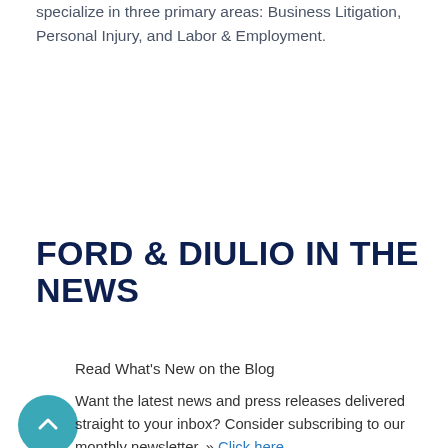specialize in three primary areas: Business Litigation, Personal Injury, and Labor & Employment.
FORD & DIULIO IN THE NEWS
Read What's New on the Blog
Want the latest news and press releases delivered straight to your inbox? Consider subscribing to our monthly newsletter. » Click here